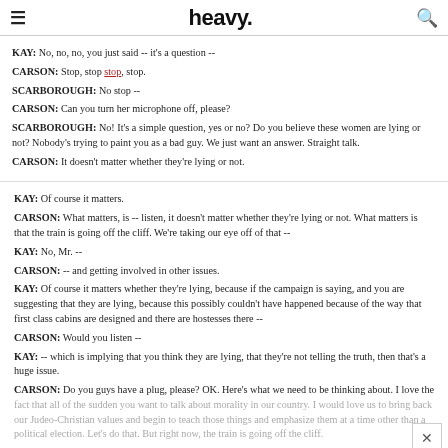heavy.
KAY:  No, no, no, you just said -- it's a question --
CARSON:  Stop, stop stop, stop.
SCARBOROUGH:  No stop --
CARSON:  Can you turn her microphone off, please?
SCARBOROUGH:  No!  It's a simple question, yes or no?  Do you believe these women are lying or not?  Nobody's trying to paint you as a bad guy.  We just want an answer.  Straight talk.
CARSON:  It doesn't matter whether they're lying or not.
KAY:  Of course it matters.
CARSON:  What matters, is -- listen, it doesn't matter whether they're lying or not.  What matters is that the train is going off the cliff.  We're taking our eye off of that --
KAY:  No, Mr. --
CARSON:  -- and getting involved in other issues.
KAY:  Of course it matters whether they're lying, because if the campaign is saying, and you are suggesting that they are lying, because this possibly couldn't have happened because of the way that first class cabins are designed and there are hostesses there --
CARSON:  Would you listen --
KAY:  -- which is implying that you think they are lying, that they're not telling the truth, then that's a huge issue.
CARSON:  Do you guys have a plug, please?  OK.  Here's what we need to be thinking about.  I love the fact that all of the sudden you want to talk about morality in our country.  I would love us to bring back our Judeo-Christian values and begin to teach those things and emphasize them at a time other than a political election.  Let's do that.  But right now, the train is going off the cliff.
SCARBOROUGH:  Are they not relevant --